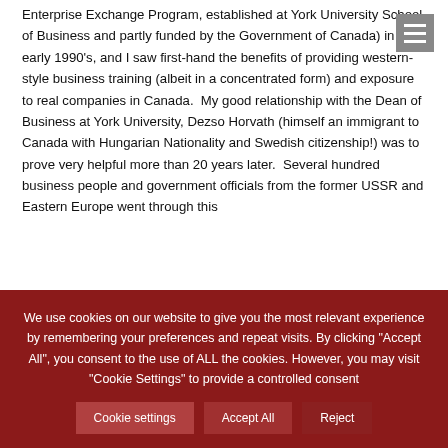Enterprise Exchange Program, established at York University School of Business and partly funded by the Government of Canada) in the early 1990's, and I saw first-hand the benefits of providing western-style business training (albeit in a concentrated form) and exposure to real companies in Canada.  My good relationship with the Dean of Business at York University, Dezso Horvath (himself an immigrant to Canada with Hungarian Nationality and Swedish citizenship!) was to prove very helpful more than 20 years later.  Several hundred business people and government officials from the former USSR and Eastern Europe went through this
We use cookies on our website to give you the most relevant experience by remembering your preferences and repeat visits. By clicking "Accept All", you consent to the use of ALL the cookies. However, you may visit "Cookie Settings" to provide a controlled consent